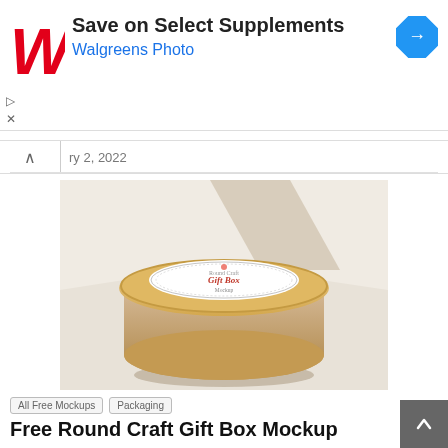[Figure (screenshot): Walgreens advertisement banner with logo, 'Save on Select Supplements' heading, 'Walgreens Photo' subtitle, and navigation arrow icon]
ry 2, 2022
[Figure (photo): Round craft gift box with a decorative white label on top reading 'Gift Box Mockup', photographed on a light background with shadows]
All Free Mockups   Packaging
Free Round Craft Gift Box Mockup